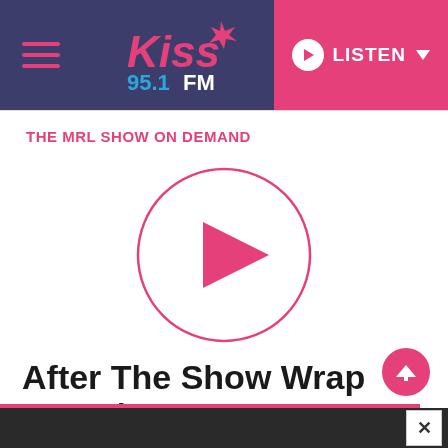Kiss 95.1 FM — LISTEN
THE MRL SHOW ON DEMAND
[Figure (other): Large circular pink play button outline with pink triangle play icon in center]
After The Show Wrap Party | 7-29